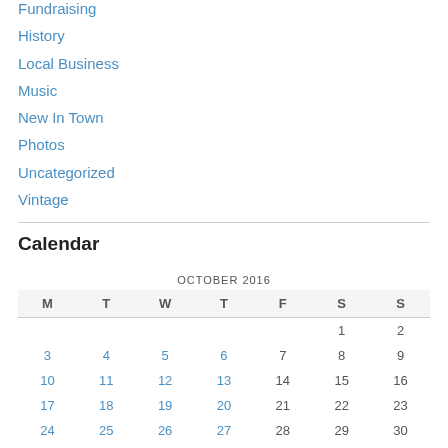Fundraising
History
Local Business
Music
New In Town
Photos
Uncategorized
Vintage
Calendar
| M | T | W | T | F | S | S |
| --- | --- | --- | --- | --- | --- | --- |
|  |  |  |  |  | 1 | 2 |
| 3 | 4 | 5 | 6 | 7 | 8 | 9 |
| 10 | 11 | 12 | 13 | 14 | 15 | 16 |
| 17 | 18 | 19 | 20 | 21 | 22 | 23 |
| 24 | 25 | 26 | 27 | 28 | 29 | 30 |